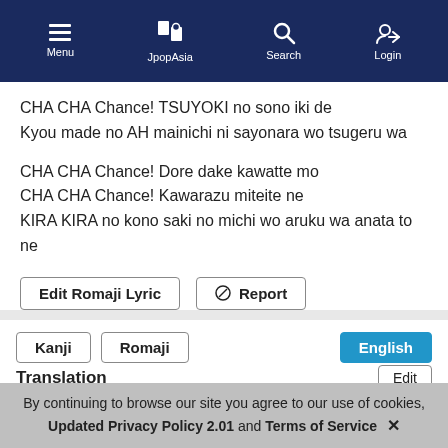Menu | JpopAsia | Search | Login
CHA CHA Chance! TSUYOKI no sono iki de
Kyou made no AH mainichi ni sayonara wo tsugeru wa
CHA CHA Chance! Dore dake kawatte mo
CHA CHA Chance! Kawarazu miteite ne
KIRA KIRA no kono saki no michi wo aruku wa anata to ne
Edit Romaji Lyric   Report
Kanji   Romaji   English
Translation
Added by: doraemonbeo
Cha Cha Chance! With unstoppable energy
Cha Cha Chance! With that strong spirit
By continuing to browse our site you agree to our use of cookies, Updated Privacy Policy 2.01 and Terms of Service ✕